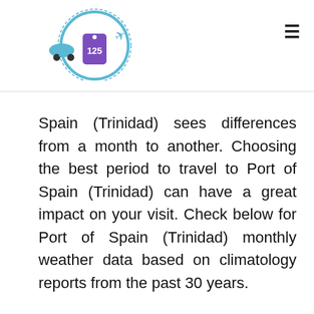Logo and navigation header
Spain (Trinidad) sees differences from a month to another. Choosing the best period to travel to Port of Spain (Trinidad) can have a great impact on your visit. Check below for Port of Spain (Trinidad) monthly weather data based on climatology reports from the past 30 years.
✈ Flights to Port of Spain (Trinidad)
🏨 Hotels in Port of Spain (Trinidad)
☀ Weather in Port of Spain (Trinidad)
We use cookies to ensure that we give you the best experience on our website. If you continue to use this site we will assume that you are happy with it.
✈ Flight Deals to Port of Spain (Trinidad), Trinidad and Tobago